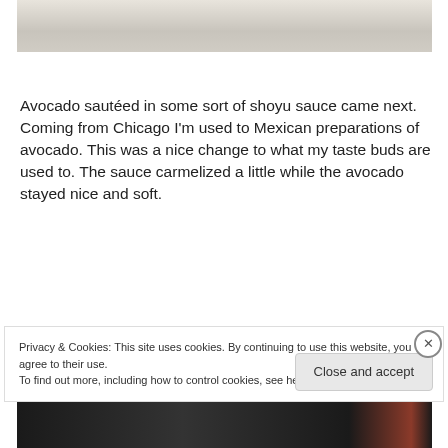[Figure (photo): Partial view of a food photograph showing a bowl or plate, mostly cropped, with light beige/cream tones at the top of the page.]
Avocado sautéed in some sort of shoyu sauce came next. Coming from Chicago I'm used to Mexican preparations of avocado. This was a nice change to what my taste buds are used to. The sauce carmelized a little while the avocado stayed nice and soft.
[Figure (photo): Dark food photograph strip partially visible at the bottom of the page.]
Privacy & Cookies: This site uses cookies. By continuing to use this website, you agree to their use.
To find out more, including how to control cookies, see here: Cookie Policy

Close and accept